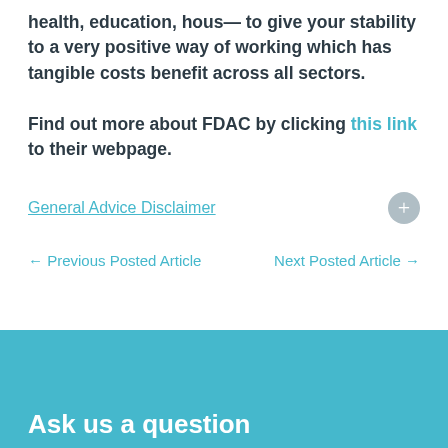health, education, hous— to give your stability to a very positive way of working which has tangible costs benefit across all sectors.
Find out more about FDAC by clicking this link to their webpage.
General Advice Disclaimer
← Previous Posted Article
Next Posted Article →
Ask us a question